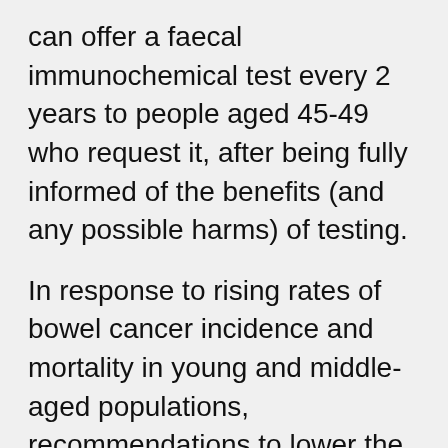can offer a faecal immunochemical test every 2 years to people aged 45-49 who request it, after being fully informed of the benefits (and any possible harms) of testing.
In response to rising rates of bowel cancer incidence and mortality in young and middle-aged populations, recommendations to lower the screening age were first introduced in the United States in 2018, when the American Cancer Society (ACS) updated their guidelines.